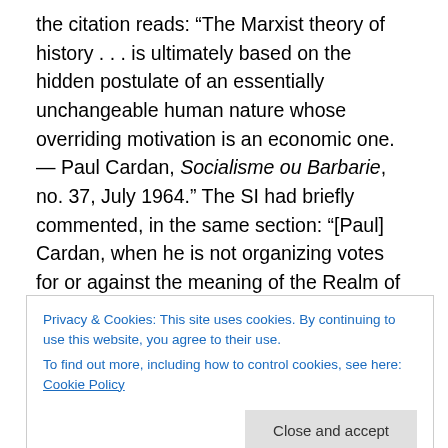the citation reads: “The Marxist theory of history . . . is ultimately based on the hidden postulate of an essentially unchangeable human nature whose overriding motivation is an economic one. — Paul Cardan, Socialisme ou Barbarie, no. 37, July 1964.” The SI had briefly commented, in the same section: “[Paul] Cardan, when he is not organizing votes for or against the meaning of the Realm of God, presents to his movement (whose mission is to “recommence the revolution”) the same anti-Marxist and grossly falsifying platform that was proclaimed by the professors of philosophy in 1910” (ibid.).
Privacy & Cookies: This site uses cookies. By continuing to use this website, you agree to their use.
To find out more, including how to control cookies, see here: Cookie Policy
Close and accept
Bonton: “But since for socialist man the whole of what is